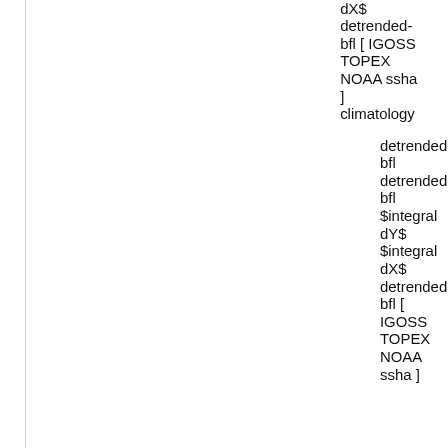dX$ detrended-bfl [ IGOSS TOPEX NOAA ssha ] climatology
detrended-bfl detrended-bfl $integral dY$ $integral dX$ detrended-bfl [ IGOSS TOPEX NOAA ssha ]
Mo...